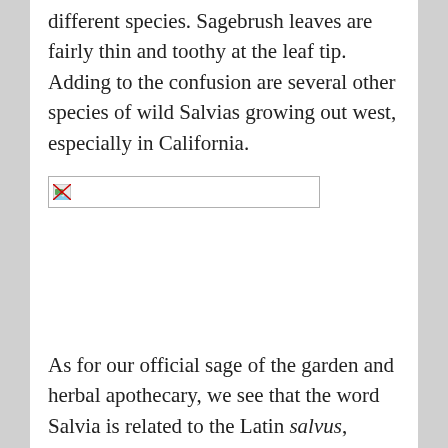different species. Sagebrush leaves are fairly thin and toothy at the leaf tip. Adding to the confusion are several other species of wild Salvias growing out west, especially in California.
[Figure (photo): Broken image placeholder — a small broken image icon inside a rectangular border, representing a missing photograph.]
As for our official sage of the garden and herbal apothecary, we see that the word Salvia is related to the Latin salvus, meaning "safe". This nurturing